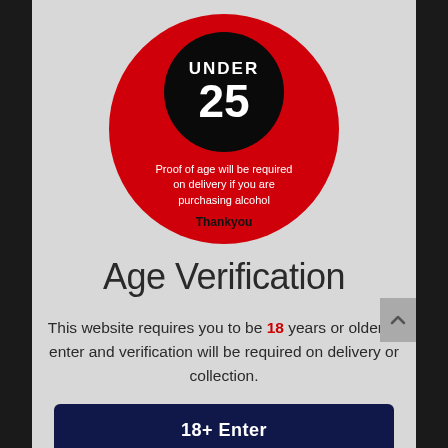[Figure (infographic): A large red circle containing a black inner circle with UNDER 25 text in white, and below it text about proof of age for alcohol purchases, with 'Thankyou' in black bold text.]
Age Verification
This website requires you to be 18 years or older to enter and verification will be required on delivery or collection.
18+ Enter